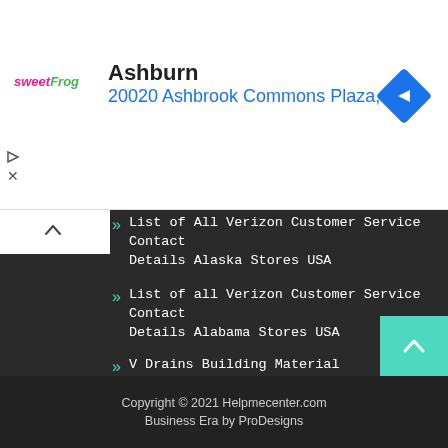[Figure (infographic): Sweet Frog advertisement banner showing logo, Ashburn heading, address 20020 Ashbrook Commons Plaza, Ste. and a blue diamond navigation icon]
List of All Verizon Customer Service Contact Details Alaska Stores USA
List of all Verizon Customer Service Contact Details Alabama Stores USA
V Drains Building Material Manufacturer
Get In Touch
[Figure (infographic): Social media icons: Facebook, Instagram, share/link, YouTube, Pinterest — each in a white-bordered square box]
Copyright © 2021 Helpmecenter.com Business Era by ProDesigns